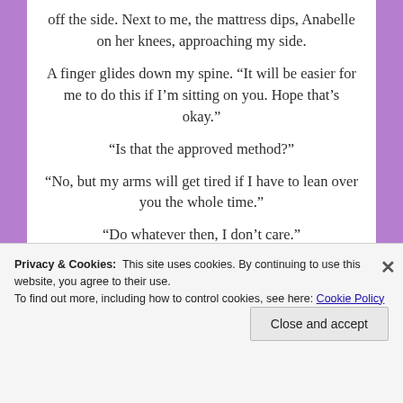off the side. Next to me, the mattress dips, Anabelle on her knees, approaching my side.
A finger glides down my spine. “It will be easier for me to do this if I’m sitting on you. Hope that’s okay.”
“Is that the approved method?”
“No, but my arms will get tired if I have to lean over you the whole time.”
“Do whatever then, I don’t care.”
Privacy & Cookies:  This site uses cookies. By continuing to use this website, you agree to their use.
To find out more, including how to control cookies, see here: Cookie Policy
Close and accept